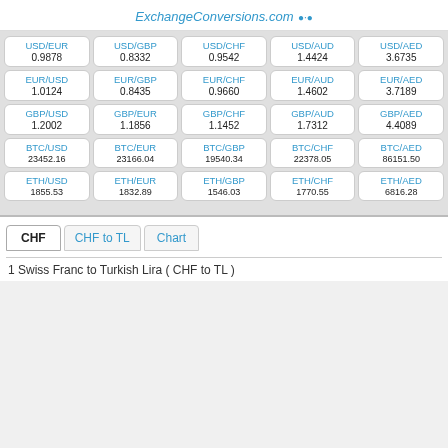ExchangeConversions.com
| USD/EUR | USD/GBP | USD/CHF | USD/AUD | USD/AED | EUR/USD | EUR/GBP | EUR/CHF | EUR/AUD | EUR/AED | GBP/USD | GBP/EUR | GBP/CHF | GBP/AUD | GBP/AED | BTC/USD | BTC/EUR | BTC/GBP | BTC/CHF | BTC/AED | ETH/USD | ETH/EUR | ETH/GBP | ETH/CHF | ETH/AED |
| --- | --- | --- | --- | --- | --- | --- | --- | --- | --- | --- | --- | --- | --- | --- | --- | --- | --- | --- | --- | --- | --- | --- | --- | --- |
| 0.9878 | 0.8332 | 0.9542 | 1.4424 | 3.6735 |
| 1.0124 | 0.8435 | 0.9660 | 1.4602 | 3.7189 |
| 1.2002 | 1.1856 | 1.1452 | 1.7312 | 4.4089 |
| 23452.16 | 23166.04 | 19540.34 | 22378.05 | 86151.50 |
| 1855.53 | 1832.89 | 1546.03 | 1770.55 | 6816.28 |
CHF   CHF to TL   Chart
1 Swiss Franc to Turkish Lira ( CHF to TL )